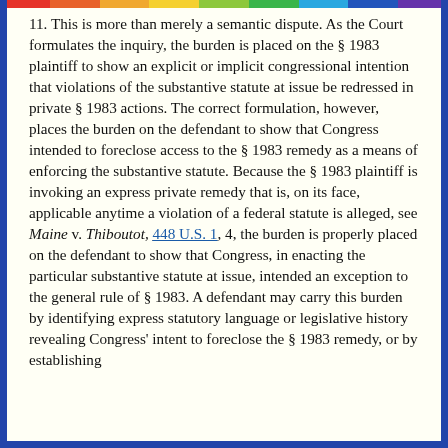11. This is more than merely a semantic dispute. As the Court formulates the inquiry, the burden is placed on the § 1983 plaintiff to show an explicit or implicit congressional intention that violations of the substantive statute at issue be redressed in private § 1983 actions. The correct formulation, however, places the burden on the defendant to show that Congress intended to foreclose access to the § 1983 remedy as a means of enforcing the substantive statute. Because the § 1983 plaintiff is invoking an express private remedy that is, on its face, applicable anytime a violation of a federal statute is alleged, see Maine v. Thiboutot, 448 U.S. 1, 4, the burden is properly placed on the defendant to show that Congress, in enacting the particular substantive statute at issue, intended an exception to the general rule of § 1983. A defendant may carry this burden by identifying express statutory language or legislative history revealing Congress' intent to foreclose the § 1983 remedy, or by establishing